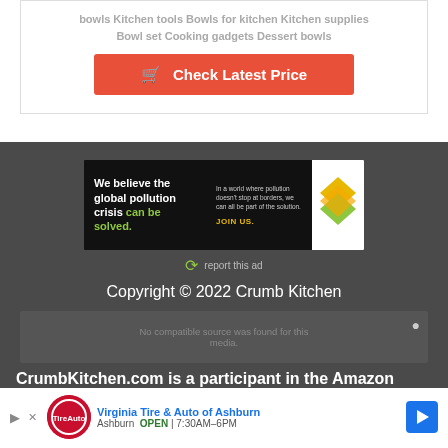bowls Kitchen tools Bowls for kitchen Kitchen supplies Bowl set Cooking gadgets Dessert bowls
[Figure (other): Orange/red button with shopping cart icon: Check Latest Price]
[Figure (other): Advertisement banner: We believe the global pollution crisis can be solved. In a world where pollution doesn't stop at borders, we can all be part of the solution. JOIN US. With green/yellow diamond logo.]
report this ad
Copyright © 2022 Crumb Kitchen
No compatible source was found for this media.
CrumbKitchen.com is a participant in the Amazon
[Figure (other): Bottom ad bar: Virginia Tire & Auto of Ashburn. Ashburn OPEN 7:30AM-6PM. With red circular logo and blue arrow icon.]